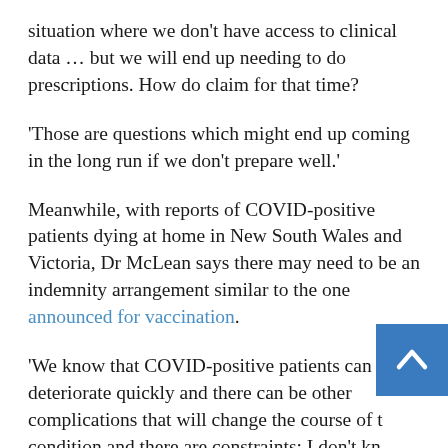situation where we don't have access to clinical data … but we will end up needing to do prescriptions. How do claim for that time?
'Those are questions which might end up coming in the long run if we don't prepare well.'
Meanwhile, with reports of COVID-positive patients dying at home in New South Wales and Victoria, Dr McLean says there may need to be an indemnity arrangement similar to the one announced for vaccination.
'We know that COVID-positive patients can deteriorate quickly and there can be other complications that will change the course of the condition and there are constraints; I don't know as a GP if I would be able to access stat monitors for my